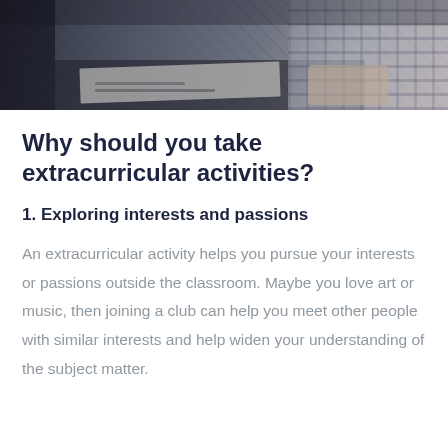[Figure (photo): A photo showing someone at a desk, appearing to do calligraphy or writing work, with papers and materials visible. A person wearing a plaid shirt is visible on the right side.]
Why should you take extracurricular activities?
1. Exploring interests and passions
An extracurricular activity helps you pursue your interests or passions outside the classroom. Maybe you love art or music, then joining a club can help you meet other people with similar interests and help widen your understanding of the subject matter.